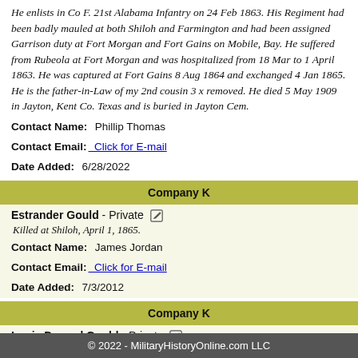He enlists in Co F. 21st Alabama Infantry on 24 Feb 1863. His Regiment had been badly mauled at both Shiloh and Farmington and had been assigned Garrison duty at Fort Morgan and Fort Gains on Mobile, Bay. He suffered from Rubeola at Fort Morgan and was hospitalized from 18 Mar to 1 April 1863. He was captured at Fort Gains 8 Aug 1864 and exchanged 4 Jan 1865. He is the father-in-Law of my 2nd cousin 3 x removed. He died 5 May 1909 in Jayton, Kent Co. Texas and is buried in Jayton Cem.
Contact Name:  Phillip Thomas
Contact Email:  Click for E-mail
Date Added:  6/28/2022
Company K
Estrander Gould - Private
Killed at Shiloh, April 1, 1865.
Contact Name:  James Jordan
Contact Email:  Click for E-mail
Date Added:  7/3/2012
Company K
Louis Durand Gould - Private
Died of illness in Mobile, Alabama; disease contracted at
© 2022 - MilitaryHistoryOnline.com LLC